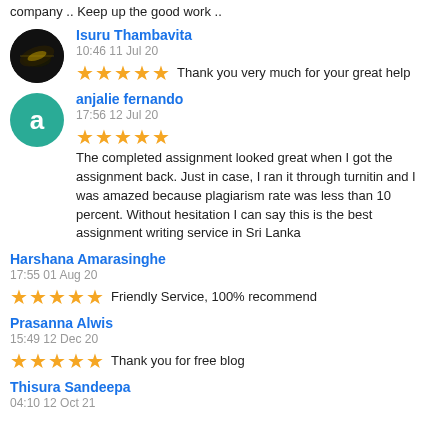company .. Keep up the good work ..
Isuru Thambavita
10:46 11 Jul 20
★★★★★ Thank you very much for your great help
anjalie fernando
17:56 12 Jul 20
★★★★★ The completed assignment looked great when I got the assignment back. Just in case, I ran it through turnitin and I was amazed because plagiarism rate was less than 10 percent. Without hesitation I can say this is the best assignment writing service in Sri Lanka
Harshana Amarasinghe
17:55 01 Aug 20
★★★★★ Friendly Service, 100% recommend
Prasanna Alwis
15:49 12 Dec 20
★★★★★ Thank you for free blog
Thisura Sandeepa
04:10 12 Oct 21